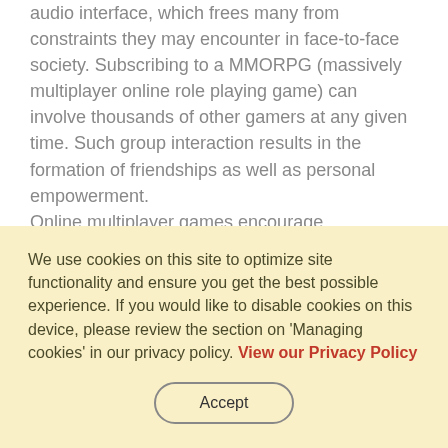audio interface, which frees many from constraints they may encounter in face-to-face society. Subscribing to a MMORPG (massively multiplayer online role playing game) can involve thousands of other gamers at any given time. Such group interaction results in the formation of friendships as well as personal empowerment.

Online multiplayer games encourage communications between players, and
We use cookies on this site to optimize site functionality and ensure you get the best possible experience. If you would like to disable cookies on this device, please review the section on 'Managing cookies' in our privacy policy. View our Privacy Policy
Accept